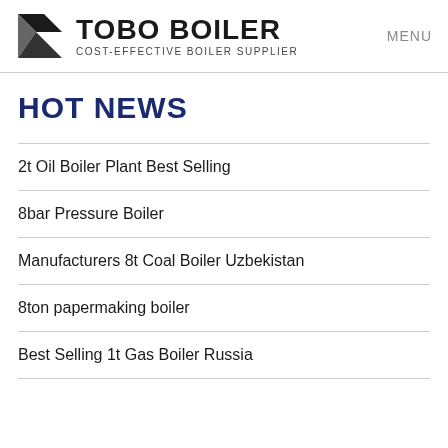TOBO BOILER — COST-EFFECTIVE BOILER SUPPLIER | MENU
HOT NEWS
2t Oil Boiler Plant Best Selling
8bar Pressure Boiler
Manufacturers 8t Coal Boiler Uzbekistan
8ton papermaking boiler
Best Selling 1t Gas Boiler Russia